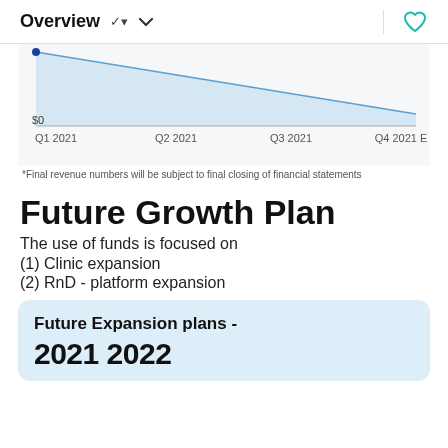Overview
[Figure (area-chart): Revenue]
*Final revenue numbers will be subject to final closing of financial statements
Future Growth Plan
The use of funds is focused on
(1) Clinic expansion
(2) RnD - platform expansion
Future Expansion plans - 2021 2022